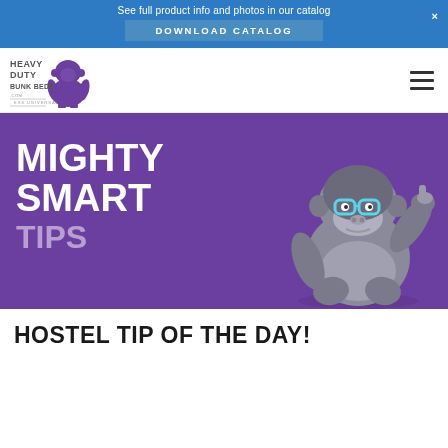See full product info and photos in our catalog
DOWNLOAD CATALOG
[Figure (logo): Heavy Duty Bunk Beds logo with purple gorilla silhouette and text]
[Figure (illustration): Purple banner hero section with gorilla mascot wearing glasses, giving thumbs up. Text: MIGHTY SMART TIPS]
HOSTEL TIP OF THE DAY!